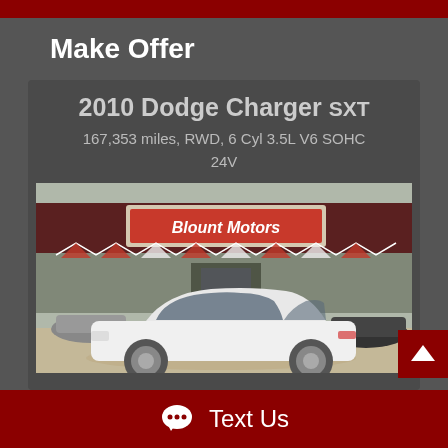Make Offer
2010 Dodge Charger SXT
167,353 miles, RWD, 6 Cyl 3.5L V6 SOHC 24V
[Figure (photo): Photo of a white 2010 Dodge Charger SXT parked in front of Blount Motors dealership. The dealership has a dark red/maroon metal building with a sign reading 'Blount Motors'. Red and white pennant flags are strung across the front. A black sedan is visible in the background to the right.]
Text Us